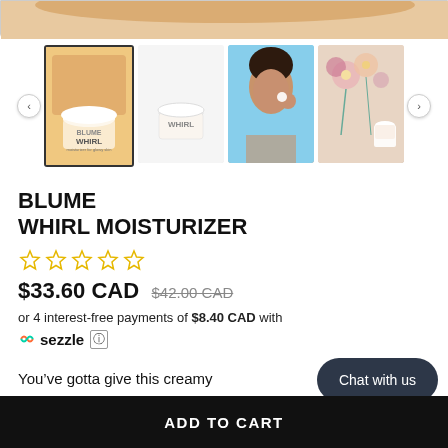[Figure (photo): Top portion of product image - wooden background with cream jar]
[Figure (photo): Thumbnail gallery showing 4 product images: cream jar on wood (selected), white jar on white background, person applying moisturizer, flowers with jar]
BLUME
WHIRL MOISTURIZER
[Figure (other): 5-star rating widget showing empty/outline stars in yellow]
$33.60 CAD  $42.00 CAD
or 4 interest-free payments of $8.40 CAD with
🟡 sezzle ⓘ
You’ve gotta give this creamy
Chat with us
ADD TO CART